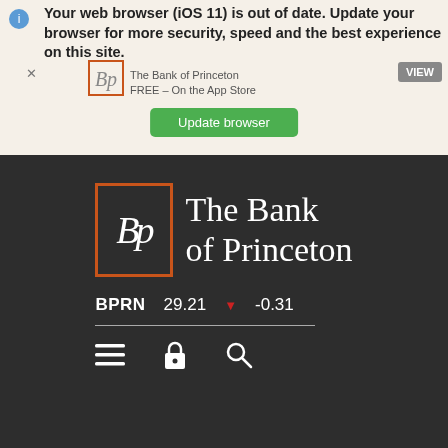[Figure (screenshot): Mobile browser banner warning: 'Your web browser (iOS 11) is out of date. Update your browser for more security, speed and the best experience on this site.' with green 'Update browser' button and VIEW button. Small Bank of Princeton logo and text visible.]
[Figure (logo): The Bank of Princeton logo: orange-bordered box with 'BP' letters, beside serif text 'The Bank of Princeton', on dark background. Below: ticker BPRN 29.21 down arrow -0.31, with menu, lock, and search icons.]